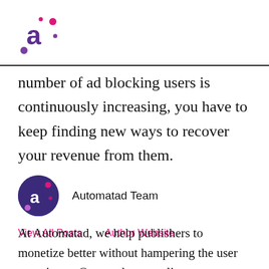Automatad
number of ad blocking users is continuously increasing, you have to keep finding new ways to recover your revenue from them.
[Figure (logo): Automatad author avatar: dark purple circle with white letter 'a' and small pink/purple dot accents]
Automatad Team
View All Posts   Author Website
At Automatad, we help publishers to monetize better without hampering the user experience. Our products are live across hundreds of